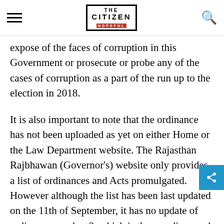THE CITIZEN - IS HOPEFUL
expose of the faces of corruption in this Government or prosecute or probe any of the cases of corruption as a part of the run up to the election in 2018.
It is also important to note that the ordinance has not been uploaded as yet on either Home or the Law Department website. The Rajasthan Rajbhawan (Governor's) website only provides a list of ordinances and Acts promulgated. However although the list has been last updated on the 11th of September, it has no update of ordinance number 3, which is the one discussed